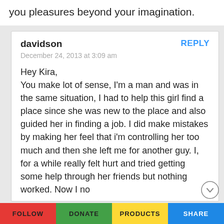you pleasures beyond your imagination.
davidson
December 24, 2013 at 3:09 am

Hey Kira,
You make lot of sense, I'm a man and was in the same situation, I had to help this girl find a place since she was new to the place and also guided her in finding a job. I did make mistakes by making her feel that i'm controlling her too much and then she left me for another guy. I, for a while really felt hurt and tried getting some help through her friends but nothing worked. Now I no
FOLLOW   DONATE   PRODUCTS   SHARE